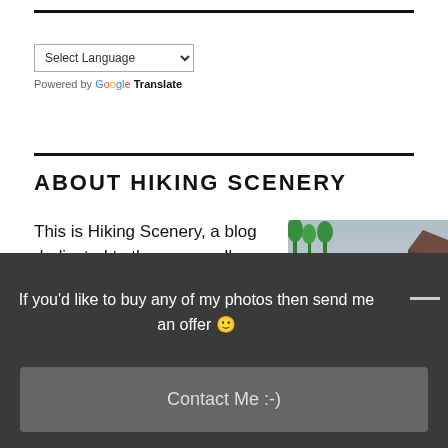[Figure (other): Select Language dropdown with Google Translate branding]
ABOUT HIKING SCENERY
This is Hiking Scenery, a blog dedicated to the scenery I've viewed on
[Figure (photo): Profile photo of a man outdoors with mountains and sky in background]
If you'd like to buy any of my photos then send me an offer 🙂
Contact Me :-)